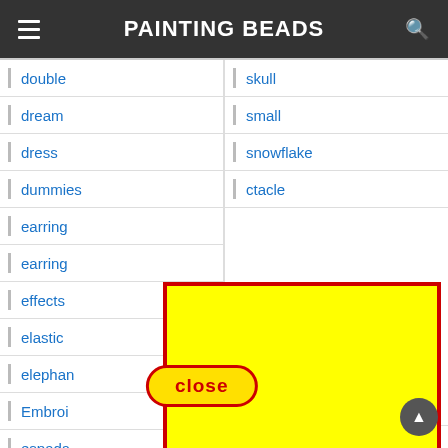PAINTING BEADS
double
skull
dream
small
dress
snowflake
dummies
spectacle
earring
earring
effects
elastic
elephant
Embroi
espada
extensi
ferrite
strings
[Figure (screenshot): Yellow highlighted box covering right portion of screen, with red border and a 'close' button overlay]